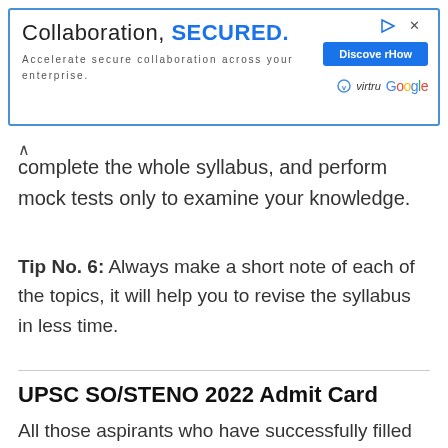[Figure (other): Advertisement banner: 'Collaboration, SECURED.' with subtitle 'Accelerate secure collaboration across your enterprise.' Virtru and Google logos with a blue 'Discover How' button.]
complete the whole syllabus, and perform mock tests only to examine your knowledge.
Tip No. 6:  Always make a short note of each of the topics, it will help you to revise the syllabus in less time.
UPSC SO/STENO 2022 Admit Card
All those aspirants who have successfully filled the application form will able to download the